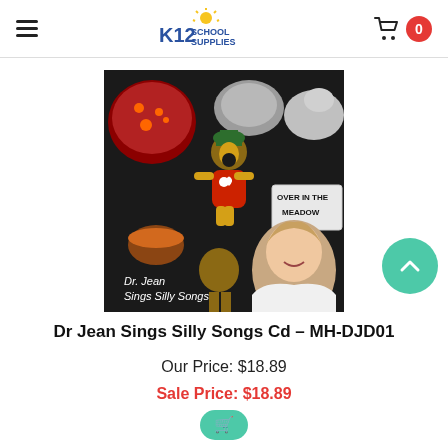K12 School Supplies
[Figure (photo): Album cover for Dr. Jean Sings Silly Songs CD showing Dr. Jean with various colorful craft characters including a gingerbread-like girl in a red dress, an elephant, a pizza, and text reading 'Over in the Meadow' and 'Dr. Jean Sings Silly Songs']
Dr Jean Sings Silly Songs Cd - MH-DJD01
Our Price: $18.89
Sale Price: $18.89